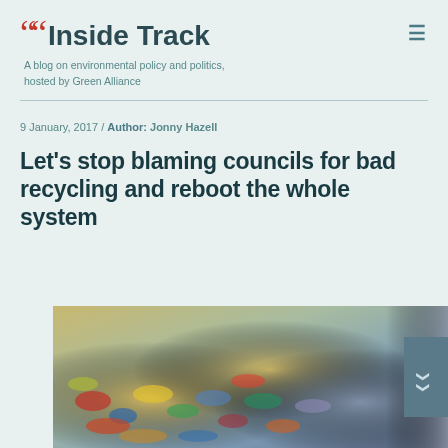Inside Track — A blog on environmental policy and politics, hosted by Green Alliance
9 January, 2017 / Author: Jonny Hazell
Let's stop blaming councils for bad recycling and reboot the whole system
[Figure (photo): Photograph of crushed and compacted recycled cans and mixed recyclable materials in colourful pile]